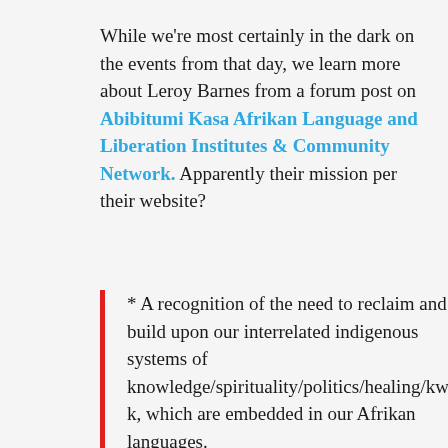While we're most certainly in the dark on the events from that day, we learn more about Leroy Barnes from a forum post on Abibitumi Kasa Afrikan Language and Liberation Institutes & Community Network. Apparently their mission per their website?
* A recognition of the need to reclaim and build upon our interrelated indigenous systems of knowledge/spirituality/politics/healing/kwk, which are embedded in our Afrikan languages.
* A recognition of the ongoing WAR against Afrikan people and the need for an